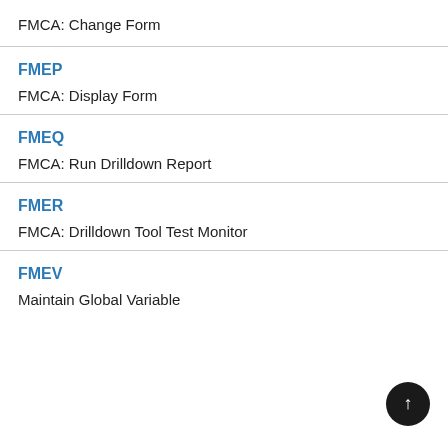FMCA: Change Form
FMEP
FMCA: Display Form
FMEQ
FMCA: Run Drilldown Report
FMER
FMCA: Drilldown Tool Test Monitor
FMEV
Maintain Global Variable